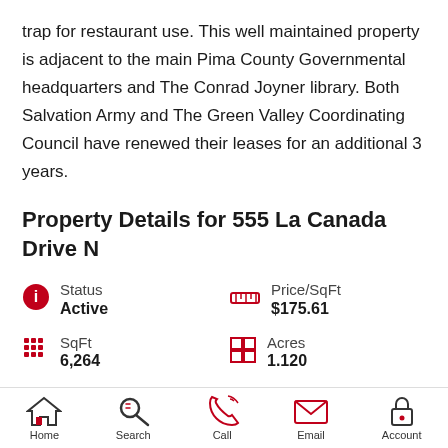trap for restaurant use. This well maintained property is adjacent to the main Pima County Governmental headquarters and The Conrad Joyner library. Both Salvation Army and The Green Valley Coordinating Council have renewed their leases for an additional 3 years.
Property Details for 555 La Canada Drive N
Status
Active
Price/SqFt
$175.61
SqFt
6,264
Acres
1.120
Home   Search   Call   Email   Account